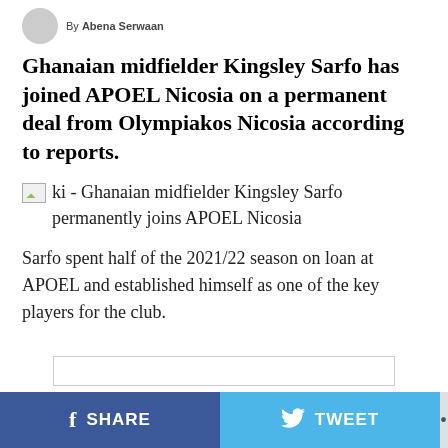By Abena Serwaan
Ghanaian midfielder Kingsley Sarfo has joined APOEL Nicosia on a permanent deal from Olympiakos Nicosia according to reports.
[Figure (photo): Broken image placeholder with caption: ki - Ghanaian midfielder Kingsley Sarfo permanently joins APOEL Nicosia]
ki - Ghanaian midfielder Kingsley Sarfo permanently joins APOEL Nicosia
Sarfo spent half of the 2021/22 season on loan at APOEL and established himself as one of the key players for the club.
ADVERTISEMENT
SHARE   TWEET   ...